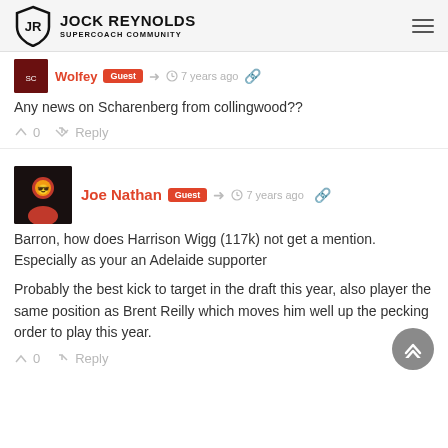JOCK REYNOLDS SUPERCOACH COMMUNITY
Wolfey Guest 7 years ago
Any news on Scharenberg from collingwood??
0 Reply
Joe Nathan Guest 7 years ago
Barron, how does Harrison Wigg (117k) not get a mention. Especially as your an Adelaide supporter
Probably the best kick to target in the draft this year, also player the same position as Brent Reilly which moves him well up the pecking order to play this year.
0 Reply